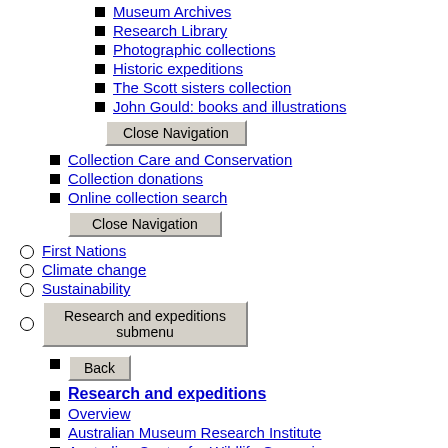Museum Archives
Research Library
Photographic collections
Historic expeditions
The Scott sisters collection
John Gould: books and illustrations
Close Navigation [button]
Collection Care and Conservation
Collection donations
Online collection search
Close Navigation [button]
First Nations
Climate change
Sustainability
Research and expeditions submenu [button]
Back [button]
Research and expeditions
Overview
Australian Museum Research Institute
Australian Centre for Wildlife Genomics
Lord Howe Island expeditions
South West Pacific expedition
Scotia Arc expeditions
Timor-Leste expedition